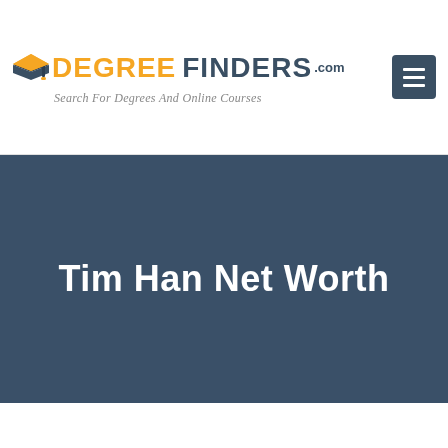[Figure (logo): Degree Finders .com logo with graduation cap icon and tagline 'Search For Degrees And Online Courses']
Tim Han Net Worth